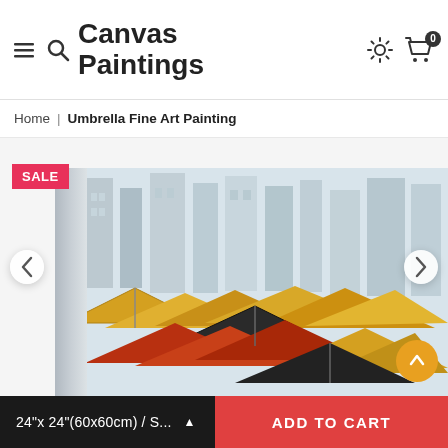Canvas Paintings
Home | Umbrella Fine Art Painting
[Figure (photo): Canvas painting product page showing an oil painting of colorful umbrellas (red, yellow, dark) in a city street scene with grey buildings in the background. The painting is shown at an angle revealing the canvas edge. A pink SALE badge is in the top left corner. Left and right navigation arrows are visible. An orange scroll-to-top button is at the bottom right.]
24"x 24"(60x60cm) / S... ▲
ADD TO CART